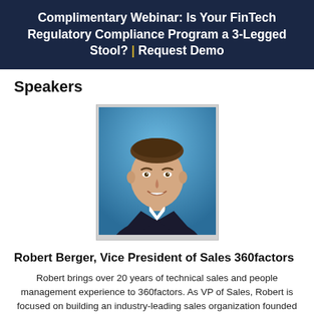Complimentary Webinar: Is Your FinTech Regulatory Compliance Program a 3-Legged Stool? | Request Demo
Speakers
[Figure (photo): Headshot of Robert Berger, a man in a dark suit with a blue background]
Robert Berger, Vice President of Sales 360factors
Robert brings over 20 years of technical sales and people management experience to 360factors. As VP of Sales, Robert is focused on building an industry-leading sales organization founded on a culture of customer success, integrity, and